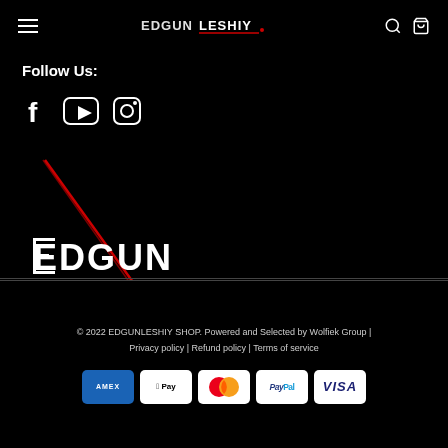EDGUNLESHIY — navigation header with hamburger, logo, search and cart icons
Follow Us:
[Figure (illustration): Social media icons: Facebook, YouTube, Instagram in white outline style]
[Figure (logo): EDGUN LESHIY logo — large stylized text with red diagonal line accent and red dot]
© 2022 EDGUNLESHIY SHOP. Powered and Selected by Wolfiek Group | Privacy policy | Refund policy | Terms of service
[Figure (other): Payment method icons: American Express, Apple Pay, Mastercard, PayPal, Visa]